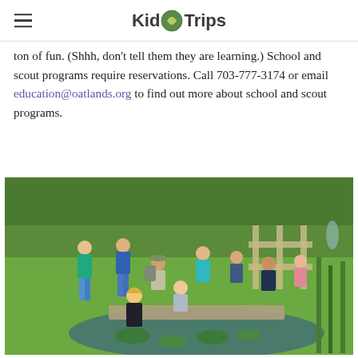Kid Trips
ton of fun.  (Shhh, don't tell them they are learning.) School and scout programs require reservations.  Call 703-777-3174 or email education@oatlands.org to find out more about school and scout programs.
[Figure (photo): Group of children and adults crouching and leaning over a pond with lily pads, examining the water, with green grass and a wooden fence in the background.]